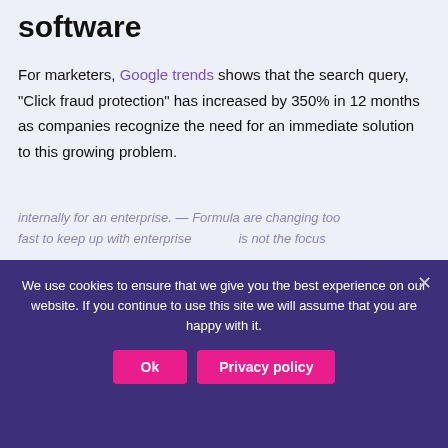software
For marketers, Google trends shows that the search query, “Click fraud protection” has increased by 350% in 12 months as companies recognize the need for an immediate solution to this growing problem.
| # | Query | Change |
| --- | --- | --- |
| 1 | click fraud protection | +350% |
| 2 | click fraud prevention | +120% |
| 3 | click fraud detection | +80% |
We use cookies to ensure that we give you the best experience on our website. If you continue to use this site we will assume that you are happy with it.